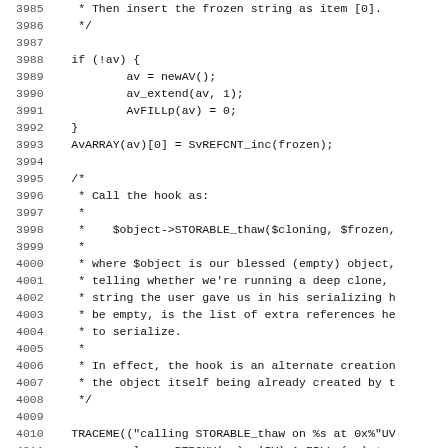Source code listing, lines 3985-4017, C code with line numbers